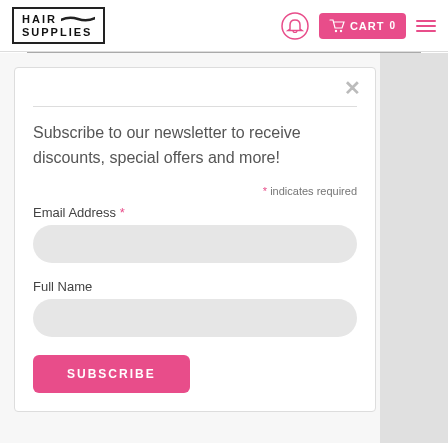HAIR SUPPLIES | Bell icon | CART 0 | Menu
Subscribe to our newsletter to receive discounts, special offers and more!
* indicates required
Email Address *
Full Name
SUBSCRIBE